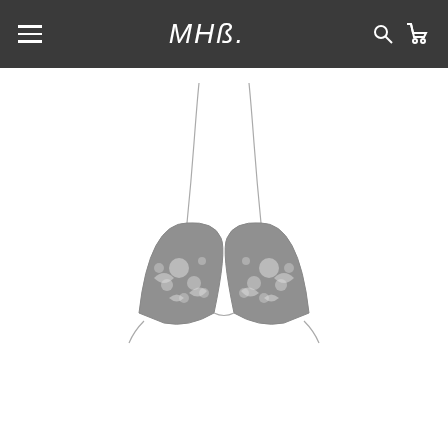MHB - Navigation bar with menu, logo, search and cart icons
[Figure (illustration): Product illustration of a crochet/lace triangle bikini top with spaghetti straps and decorative floral/dot details, rendered in gray tones on white background]